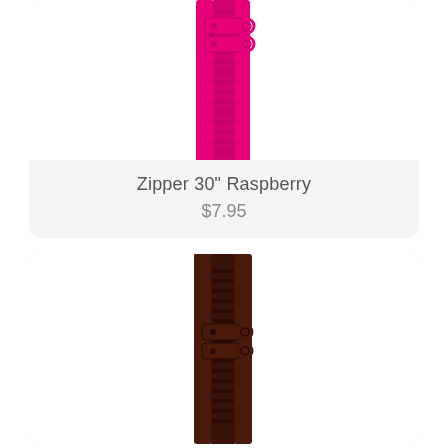[Figure (photo): Pink/raspberry colored zipper with double pull tabs, shown vertically on white background]
Zipper 30" Raspberry
$7.95
[Figure (photo): Dark brown colored zipper with double pull tabs, shown vertically on white background, top portion visible]